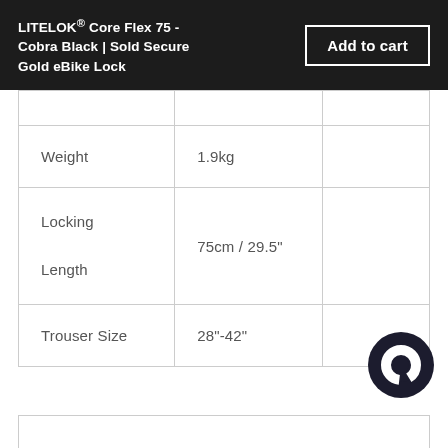LITELOK® Core Flex 75 - Cobra Black | Sold Secure Gold eBike Lock
|  |  |  |
| --- | --- | --- |
|  |  |  |
| Weight | 1.9kg |  |
| Locking
Length | 75cm / 29.5" |  |
| Trouser Size | 28"-42" |  |